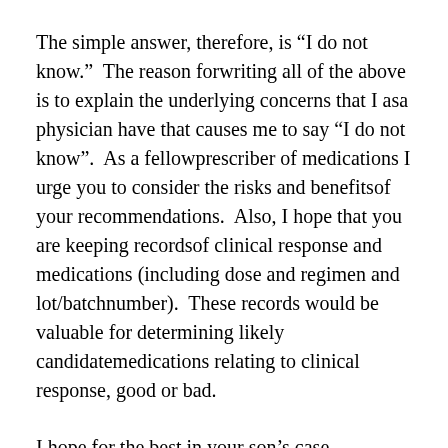The simple answer, therefore, is “I do not know.”  The reason forwriting all of the above is to explain the underlying concerns that I asa physician have that causes me to say “I do not know”.  As a fellowprescriber of medications I urge you to consider the risks and benefitsof your recommendations.  Also, I hope that you are keeping recordsof clinical response and medications (including dose and regimen and lot/batchnumber).  These records would be valuable for determining likely candidatemedications relating to clinical response, good or bad.
I hope for the best in your son’s case.